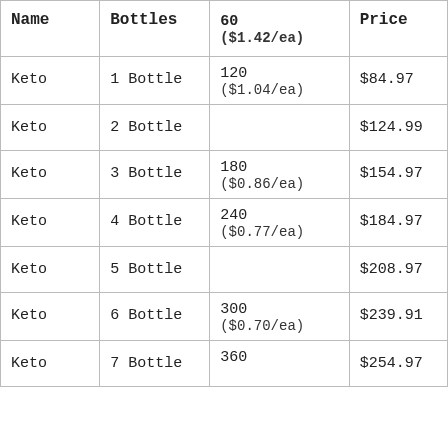| Name | Bottles | 60 ($1.42/ea) | Price |
| --- | --- | --- | --- |
| Keto | 1 Bottle | 120 ($1.04/ea) | $84.97 |
| Keto | 2 Bottle |  | $124.99 |
| Keto | 3 Bottle | 180 ($0.86/ea) | $154.97 |
| Keto | 4 Bottle | 240 ($0.77/ea) | $184.97 |
| Keto | 5 Bottle |  | $208.97 |
| Keto | 6 Bottle | 300 ($0.70/ea) | $239.91 |
| Keto | 7 Bottle | 360 | $254.97 |